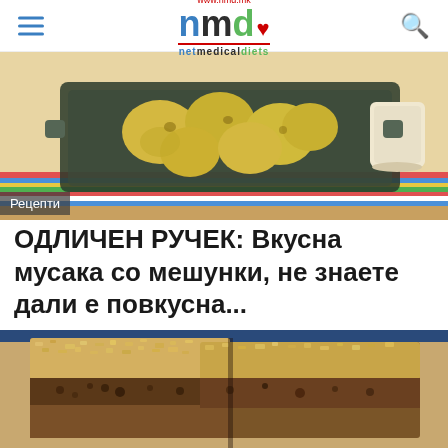www.nmd.mk | nmd netmedicaldiets
[Figure (photo): Food photo showing a baking dish with roasted potatoes on a colorful striped tablecloth, with a cup visible on the right. Label 'Рецепти' overlaid at bottom left.]
ОДЛИЧЕН РУЧЕК: Вкусна мусака со мешунки, не знаете дали е повкусна...
[Figure (photo): Close-up photo of musaka (moussaka) with beans, showing a crumbly golden-brown topping with a dark filling layer visible, cut into squares.]